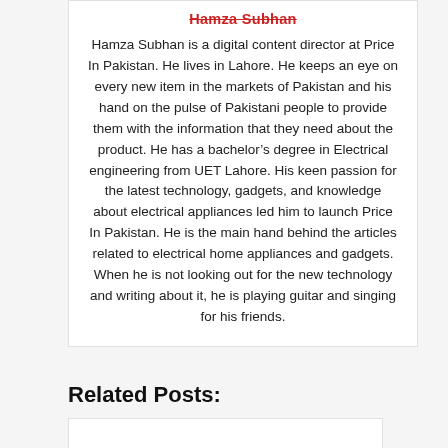Hamza Subhan
Hamza Subhan is a digital content director at Price In Pakistan. He lives in Lahore. He keeps an eye on every new item in the markets of Pakistan and his hand on the pulse of Pakistani people to provide them with the information that they need about the product. He has a bachelor’s degree in Electrical engineering from UET Lahore. His keen passion for the latest technology, gadgets, and knowledge about electrical appliances led him to launch Price In Pakistan. He is the main hand behind the articles related to electrical home appliances and gadgets. When he is not looking out for the new technology and writing about it, he is playing guitar and singing for his friends.
Related Posts: